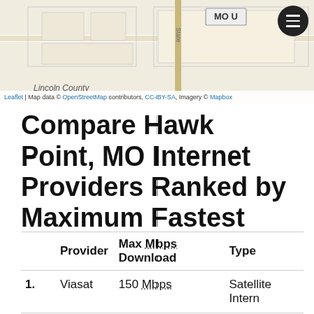[Figure (map): Street map showing Hawk Point, MO area with Lincoln County label, State route road, MO U highway marker, and a tan/gold vertical road line. Map attribution to Leaflet, OpenStreetMap, CC-BY-SA, Mapbox.]
Leaflet | Map data © OpenStreetMap contributors, CC-BY-SA, Imagery © Mapbox
Compare Hawk Point, MO Internet Providers Ranked by Maximum Fastest Speed
|  | Provider | Max Mbps Download | Type |
| --- | --- | --- | --- |
| 1. | Viasat | 150 Mbps | Satellite Intern |
| 2. | EarthLink | 75 Mbps | Fiber Internet a |